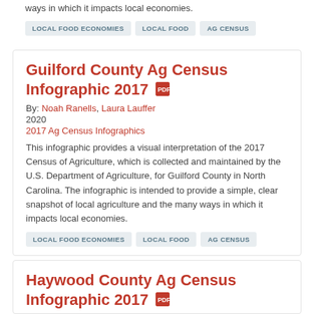LOCAL FOOD ECONOMIES
LOCAL FOOD
AG CENSUS
Guilford County Ag Census Infographic 2017
By: Noah Ranells, Laura Lauffer
2020
2017 Ag Census Infographics
This infographic provides a visual interpretation of the 2017 Census of Agriculture, which is collected and maintained by the U.S. Department of Agriculture, for Guilford County in North Carolina. The infographic is intended to provide a simple, clear snapshot of local agriculture and the many ways in which it impacts local economies.
LOCAL FOOD ECONOMIES
LOCAL FOOD
AG CENSUS
Haywood County Ag Census Infographic 2017